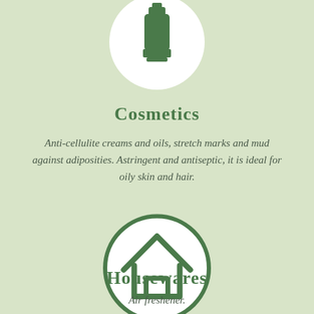[Figure (illustration): Circular icon with white background showing a cosmetics tube/bottle silhouette in dark green, partially visible at top of page]
Cosmetics
Anti-cellulite creams and oils, stretch marks and mud against adiposities. Astringent and antiseptic, it is ideal for oily skin and hair.
[Figure (illustration): Circular icon with white background and thick green border showing a house/home silhouette in dark green]
Housewares
Air freshener.